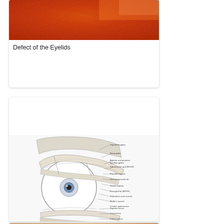[Figure (photo): Close-up photo of eyelid tissue showing reddish-orange textured surface, likely a skin or tissue defect.]
Defect of the Eyelids
[Figure (illustration): Detailed anatomical cross-section diagram of the upper and lower eyelid and eye, with labeled structures including superficial galeas, deep galea, anterior and posterior lamellae, sub-brow fat pad, frontalis muscle, preseptal/preaponeurotic fat, orbital septum, orbicularis oculi muscle, Müller's muscle, levator aponeurosis, superior tarsus, conjunctiva, inferior tarsus, inferior levator fornical muscle, capsulopalpebral fascia (CPF), orbital septum, orbital fat, orbital ligament, orbicularis muscle, inferior lid pars, sub orbicularis oculi fat (SOOF), and inferior oblique muscle (IOMM).]
Rejuvenation of the Upper Eyelid
[Figure (photo): Partial view of a skin/tissue photo at the bottom of the page, cut off.]